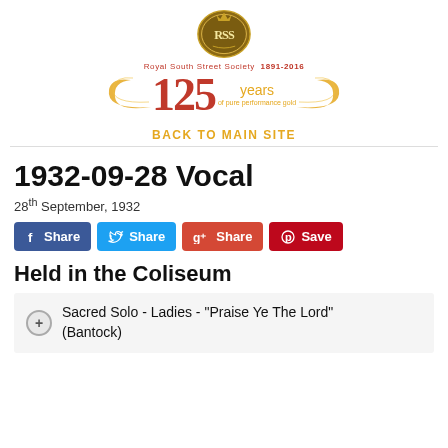[Figure (logo): Royal South Street Society 1891-2016 logo with emblem and '125 years of pure performance gold' text with gold ribbon decoration]
BACK TO MAIN SITE
1932-09-28 Vocal
28th September, 1932
[Figure (infographic): Social share buttons: Facebook Share, Twitter Share, Google+ Share, Pinterest Save]
Held in the Coliseum
Sacred Solo - Ladies - "Praise Ye The Lord" (Bantock)